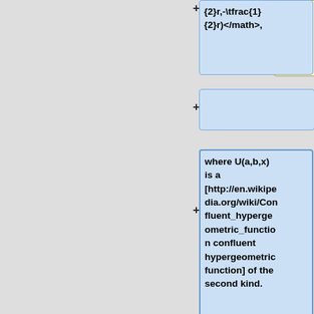{2}r,-\tfrac{1}{2}r)</math>,
where U(a,b,x) is a [http://en.wikipedia.org/wiki/Confluent_hypergeometric_function confluent hypergeometric function] of the second kind.
===Applications===
===Applications===
<math>\cdot</math>
[http://en.wikipedi
* See the [[AP_Statistics_Curriculum_200